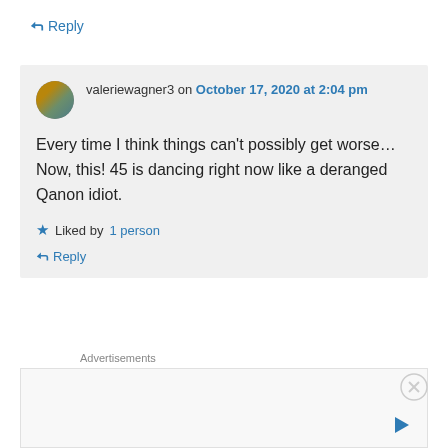↪ Reply
valeriewagner3 on October 17, 2020 at 2:04 pm
Every time I think things can't possibly get worse…Now, this! 45 is dancing right now like a deranged Qanon idiot.
★ Liked by 1 person
↪ Reply
Advertisements
Advertisements